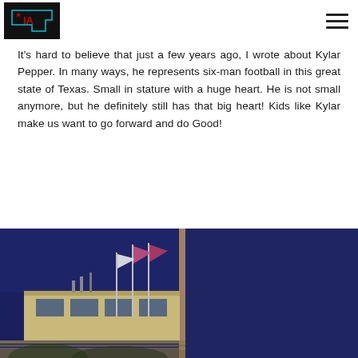TA logo and navigation
It's hard to believe that just a few years ago, I wrote about Kylar Pepper. In many ways, he represents six-man football in this great state of Texas. Small in stature with a huge heart. He is not small anymore, but he definitely still has that big heart! Kids like Kylar make us want to go forward and do Good!
[Figure (photo): Night-time photo of a press box or bleacher building with flagpoles and flags against a deep blue sky, possibly a Friday night lights football stadium scene.]